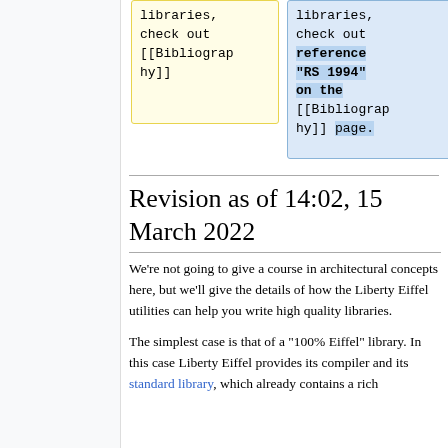|  |  |
| --- | --- |
| libraries,
check out
[[Bibliography]] | libraries,
check out
reference "RS 1994"
on the
[[Bibliography]] page. |
Revision as of 14:02, 15 March 2022
We're not going to give a course in architectural concepts here, but we'll give the details of how the Liberty Eiffel utilities can help you write high quality libraries.
The simplest case is that of a "100% Eiffel" library. In this case Liberty Eiffel provides its compiler and its standard library, which already contains a rich